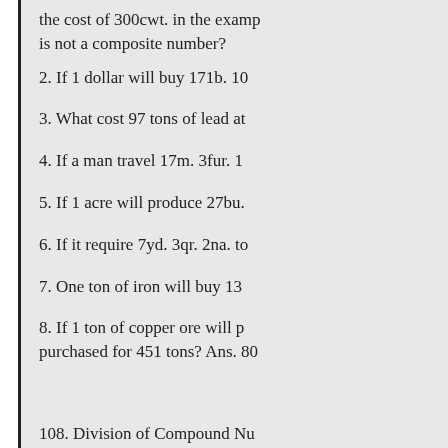the cost of 300cwt. in the example is not a composite number?
2. If 1 dollar will buy 171b. 10
3. What cost 97 tons of lead at
4. If a man travel 17m. 3fur. 1
5. If 1 acre will produce 27bu.
6. If it require 7yd. 3qr. 2na. to
7. One ton of iron will buy 13
8. If 1 ton of copper ore will p purchased for 451 tons? Ans. 80
108. Division of Compound Numbers number of equal parts.
109. To divide when the divisor